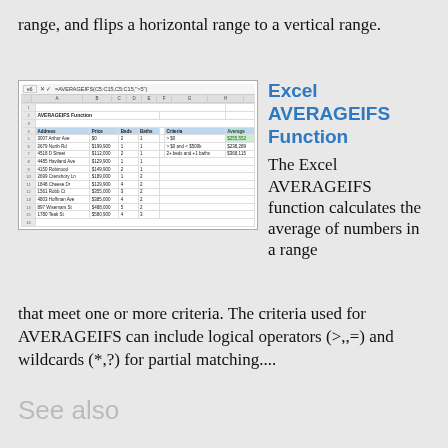range, and flips a horizontal range to a vertical range.
[Figure (screenshot): Excel spreadsheet screenshot showing AVERAGEIFS function usage with a table of addresses, prices, beds, baths, and a criteria/average results table.]
Excel AVERAGEIFS Function
The Excel AVERAGEIFS function calculates the average of numbers in a range that meet one or more criteria. The criteria used for AVERAGEIFS can include logical operators (>,,=) and wildcards (*,?) for partial matching....
See also